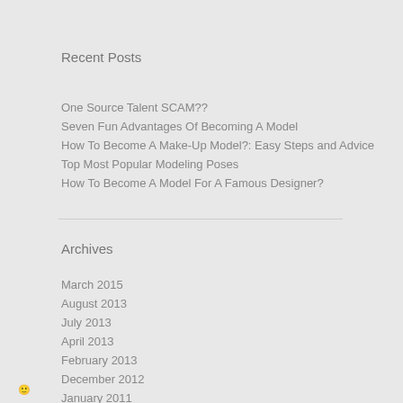Recent Posts
One Source Talent SCAM??
Seven Fun Advantages Of Becoming A Model
How To Become A Make-Up Model?: Easy Steps and Advice
Top Most Popular Modeling Poses
How To Become A Model For A Famous Designer?
Archives
March 2015
August 2013
July 2013
April 2013
February 2013
December 2012
January 2011